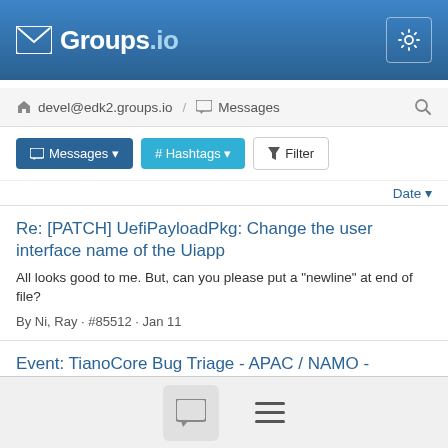Groups.io
devel@edk2.groups.io / Messages
Messages | # Hashtags | Filter
Date
Re: [PATCH] UefiPayloadPkg: Change the user interface name of the Uiapp
All looks good to me. But, can you please put a "newline" at end of file?
By Ni, Ray · #85512 · Jan 11
Event: TianoCore Bug Triage - APAC / NAMO - 01/11/2022 📎 #cal-reminder